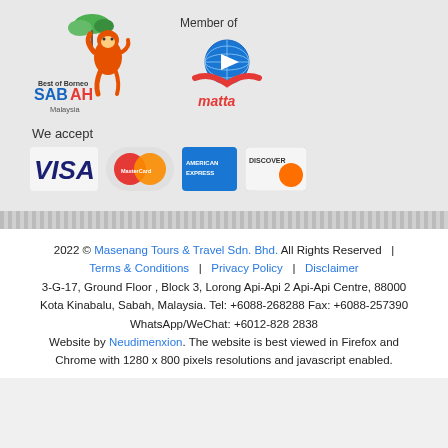[Figure (logo): Best of Borneo Sabah Malaysia logo with orangutan]
[Figure (logo): MATTA member logo with globe and hands]
We accept
[Figure (logo): Payment logos: VISA, MasterCard, American Express, Discover]
2022 © Masenang Tours & Travel Sdn. Bhd. All Rights Reserved | Terms & Conditions | Privacy Policy | Disclaimer 3-G-17, Ground Floor , Block 3, Lorong Api-Api 2 Api-Api Centre, 88000 Kota Kinabalu, Sabah, Malaysia. Tel: +6088-268288 Fax: +6088-257390 WhatsApp/WeChat: +6012-828 2838 Website by Neudimenxion. The website is best viewed in Firefox and Chrome with 1280 x 800 pixels resolutions and javascript enabled.